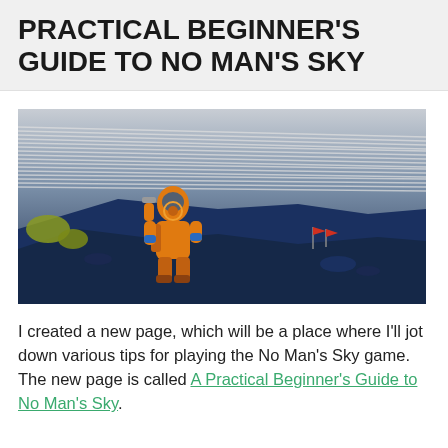PRACTICAL BEGINNER'S GUIDE TO NO MAN'S SKY
[Figure (photo): Screenshot from No Man's Sky game showing an astronaut in an orange space suit standing on a rocky alien terrain under a dramatic sky with streaking cloud formations. A red flag is visible in the background.]
I created a new page, which will be a place where I'll jot down various tips for playing the No Man's Sky game. The new page is called A Practical Beginner's Guide to No Man's Sky.